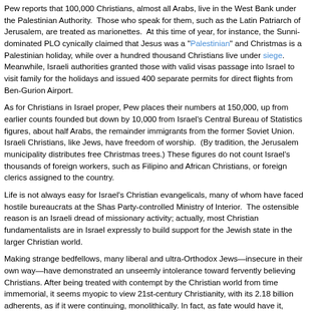Pew reports that 100,000 Christians, almost all Arabs, live in the West Bank under the Palestinian Authority. Those who speak for them, such as the Latin Patriarch of Jerusalem, are treated as marionettes. At this time of year, for instance, the Sunni-dominated PLO cynically claimed that Jesus was a "Palestinian" and Christmas is a Palestinian holiday, while over a hundred thousand Christians live under siege. Meanwhile, Israeli authorities granted those with valid visas passage into Israel to visit family for the holidays and issued 400 separate permits for direct flights from Ben-Gurion Airport.
As for Christians in Israel proper, Pew places their numbers at 150,000, up from earlier counts founded but down by 10,000 from Israel's Central Bureau of Statistics figures, about half Arabs, the remainder immigrants from the former Soviet Union. Israeli Christians, like Jews, have freedom of worship. (By tradition, the Jerusalem municipality distributes free Christmas trees.) These figures do not count Israel's thousands of foreign workers, such as Filipino and African Christians, or foreign clerics assigned to the country.
Life is not always easy for Israel's Christian evangelicals, many of whom have faced hostile bureaucrats at the Shas Party-controlled Ministry of Interior. The ostensible reason is an Israeli dread of missionary activity; actually, most Christian fundamentalists are in Israel expressly to build support for the Jewish state in the larger Christian world.
Making strange bedfellows, many liberal and ultra-Orthodox Jews—insecure in their own way—have demonstrated an unseemly intolerance toward fervently believing Christians. After being treated with contempt by the Christian world from time immemorial, it seems myopic to view 21st-century Christianity, with its 2.18 billion adherents, as if it were continuing, monolithically. In fact, as fate would have it, Christian and Jewish civilizations at the present